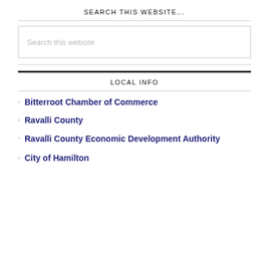SEARCH THIS WEBSITE...
[Figure (other): Search input box with placeholder text 'Search this website']
LOCAL INFO
Bitterroot Chamber of Commerce
Ravalli County
Ravalli County Economic Development Authority
City of Hamilton